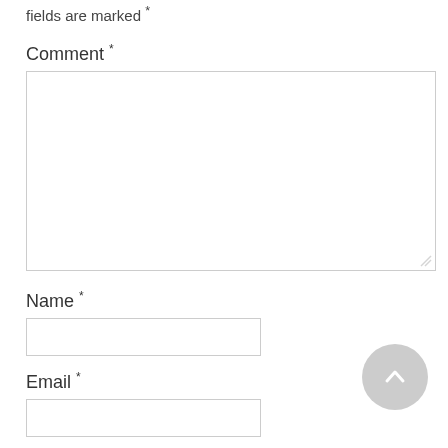fields are marked *
Comment *
[Figure (other): Large text area input box for comment entry]
Name *
[Figure (other): Single-line text input box for name]
Email *
[Figure (other): Single-line text input box for email]
Website
[Figure (other): Scroll-to-top circular button with upward chevron arrow]